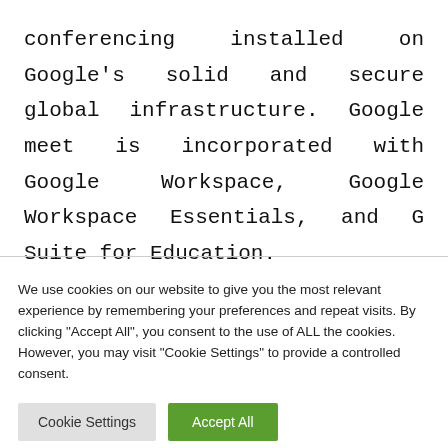conferencing installed on Google's solid and secure global infrastructure. Google meet is incorporated with Google Workspace, Google Workspace Essentials, and G Suite for Education.
We use cookies on our website to give you the most relevant experience by remembering your preferences and repeat visits. By clicking "Accept All", you consent to the use of ALL the cookies. However, you may visit "Cookie Settings" to provide a controlled consent.